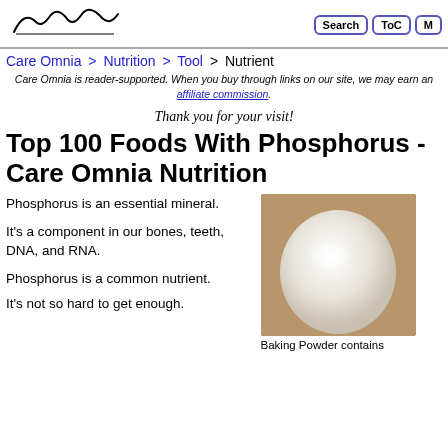Care Omnia | Search | ToC | M
Care Omnia > Nutrition > Tool > Nutrient
Care Omnia is reader-supported. When you buy through links on our site, we may earn an affiliate commission.
Thank you for your visit!
Top 100 Foods With Phosphorus - Care Omnia Nutrition
Phosphorus is an essential mineral.
It's a component in our bones, teeth, DNA, and RNA.
Phosphorus is a common nutrient.
It's not so hard to get enough.
[Figure (photo): A round white baking powder mound/mass on a surface with warm background]
Baking Powder contains